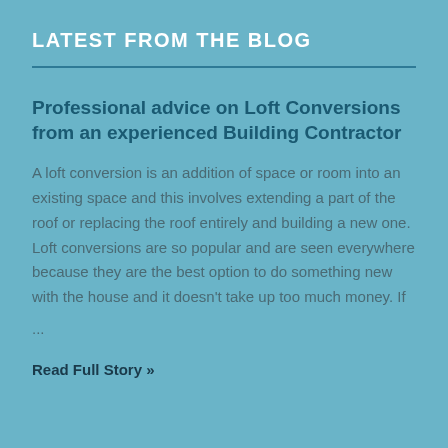LATEST FROM THE BLOG
Professional advice on Loft Conversions from an experienced Building Contractor
A loft conversion is an addition of space or room into an existing space and this involves extending a part of the roof or replacing the roof entirely and building a new one. Loft conversions are so popular and are seen everywhere because they are the best option to do something new with the house and it doesn't take up too much money. If
...
Read Full Story »